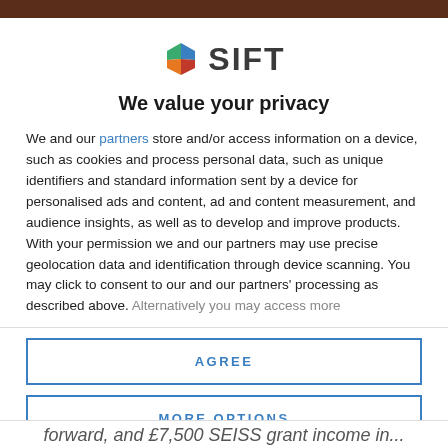[Figure (logo): SIFT logo with geometric diamond shape in green, blue, orange, red colors, followed by bold text SIFT]
We value your privacy
We and our partners store and/or access information on a device, such as cookies and process personal data, such as unique identifiers and standard information sent by a device for personalised ads and content, ad and content measurement, and audience insights, as well as to develop and improve products. With your permission we and our partners may use precise geolocation data and identification through device scanning. You may click to consent to our and our partners' processing as described above. Alternatively you may access more
AGREE
MORE OPTIONS
forward, and £7,500 SEISS grant income in...